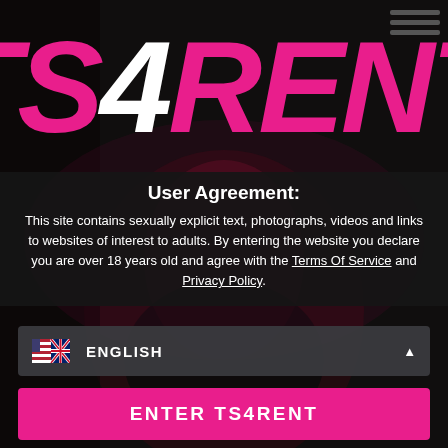[Figure (screenshot): TS4RENT website age verification/user agreement page screenshot with logo, agreement text, language selector, enter button, and disagree link on a dark background with a photo of a person with red hair.]
User Agreement:
This site contains sexually explicit text, photographs, videos and links to websites of interest to adults. By entering the website you declare you are over 18 years old and agree with the Terms Of Service and Privacy Policy.
ENGLISH
ENTER TS4RENT
I disagree - leave the website